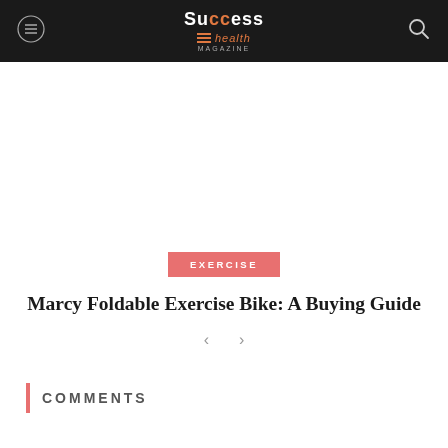Success Health
EXERCISE
Marcy Foldable Exercise Bike: A Buying Guide
COMMENTS